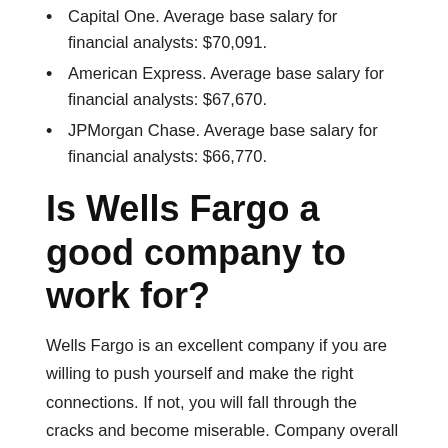Capital One. Average base salary for financial analysts: $70,091.
American Express. Average base salary for financial analysts: $67,670.
JPMorgan Chase. Average base salary for financial analysts: $66,770.
Is Wells Fargo a good company to work for?
Wells Fargo is an excellent company if you are willing to push yourself and make the right connections. If not, you will fall through the cracks and become miserable. Company overall incentives are okay, sucks when only a few team members are participating, making sure customer surveys are up.
You might be interested: What is a first